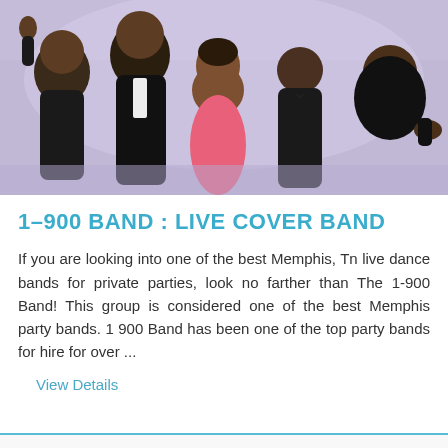[Figure (photo): Group photo of five people dressed formally (tuxedos and a pink dress) posing together, smiling and gesturing, against a light purple/lavender background.]
1-900 BAND : LIVE COVER BAND
If you are looking into one of the best Memphis, Tn live dance bands for private parties, look no farther than The 1-900 Band! This group is considered one of the best Memphis party bands. 1 900 Band has been one of the top party bands for hire for over ...
View Details